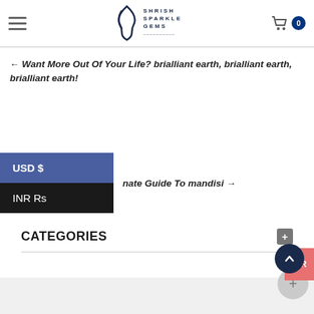Shrish Sparkle Gems - header with logo, hamburger menu, cart
← Want More Out Of Your Life? brialliant earth, brialliant earth, brialliant earth!
USD $
INR Rs
nate Guide To mandisi →
CATEGORIES
TAG